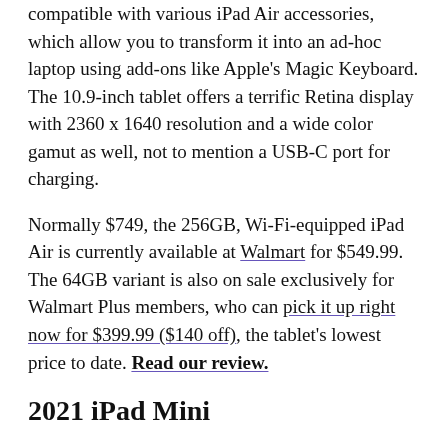compatible with various iPad Air accessories, which allow you to transform it into an ad-hoc laptop using add-ons like Apple's Magic Keyboard. The 10.9-inch tablet offers a terrific Retina display with 2360 x 1640 resolution and a wide color gamut as well, not to mention a USB-C port for charging.
Normally $749, the 256GB, Wi-Fi-equipped iPad Air is currently available at Walmart for $549.99. The 64GB variant is also on sale exclusively for Walmart Plus members, who can pick it up right now for $399.99 ($140 off), the tablet's lowest price to date. Read our review.
2021 iPad Mini
The latest model of the 64GB iPad Mini usually sells for $499.99 but can currently be found at Walmart and Amazon for around $410. The best price yet for the miniature Apple tablet. This model brings a number of